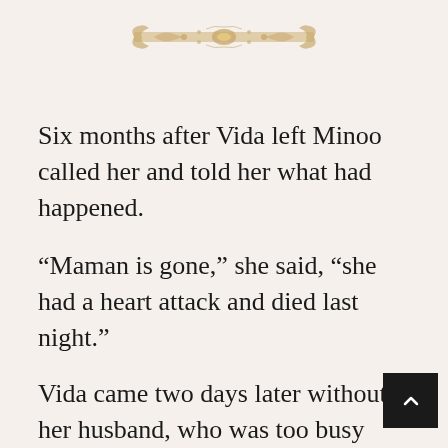[Figure (illustration): Decorative ornamental divider banner in gold/tan color with intricate floral and scroll patterns]
Six months after Vida left Minoo called her and told her what had happened.
“Maman is gone,” she said, “she had a heart attack and died last night.”
Vida came two days later without her husband, who was too busy with work to make the trip. Much to her surprise, Minoo noticed her thin